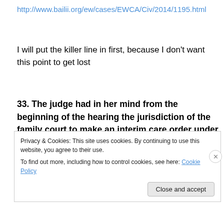http://www.bailii.org/ew/cases/EWCA/Civ/2014/1195.html
I will put the killer line in first, because I don't want this point to get lost
33. The judge had in her mind from the beginning of the hearing the jurisdiction of the family court to make an interim care order under section 38(1) CA 1989
where a section 37 report has been directed. The
Privacy & Cookies: This site uses cookies. By continuing to use this website, you agree to their use.
To find out more, including how to control cookies, see here: Cookie Policy
Close and accept